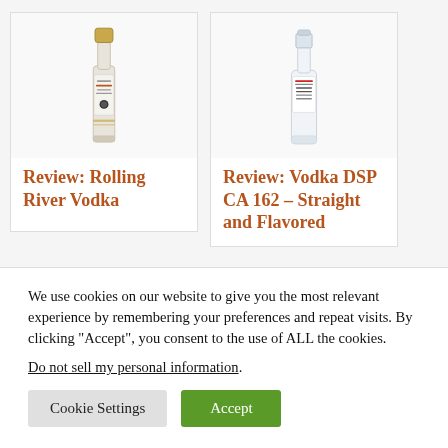[Figure (photo): Rolling River Vodka bottle product photo — tall slender bottle with gold/silver label and decorative elements]
Review: Rolling River Vodka
[Figure (photo): Vodka DSP CA 162 bottle product photo — clear glass bottle with simple label]
Review: Vodka DSP CA 162 – Straight and Flavored
We use cookies on our website to give you the most relevant experience by remembering your preferences and repeat visits. By clicking “Accept”, you consent to the use of ALL the cookies.
Do not sell my personal information.